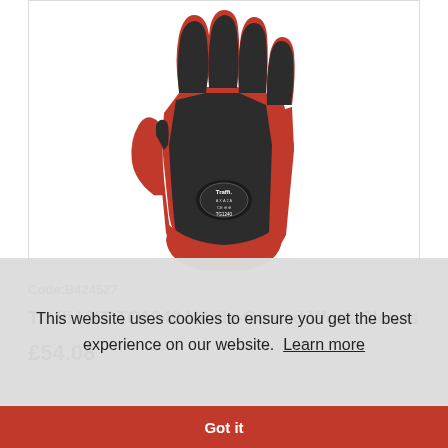[Figure (photo): Red nitrile-coated work glove (Traffi LXT TG1240) shown palm-down on white background, with black coating on fingers and palm, and a Traffi brand label on the wrist area.]
Code:B424527
Traffi LXT TG1240 Nitrile-Coated Work Gloves
£54.08
This website uses cookies to ensure you get the best experience on our website. Learn more
Got it